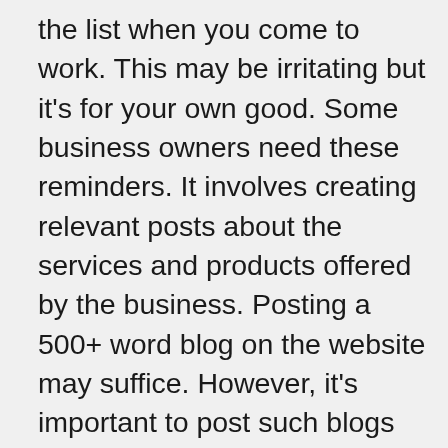the list when you come to work. This may be irritating but it's for your own good. Some business owners need these reminders. It involves creating relevant posts about the services and products offered by the business. Posting a 500+ word blog on the website may suffice. However, it's important to post such blogs from time to time so that the search engines can re-crawl back to your website and target the keywords. They would accordingly show the posts whenever your audience searches with related terms.